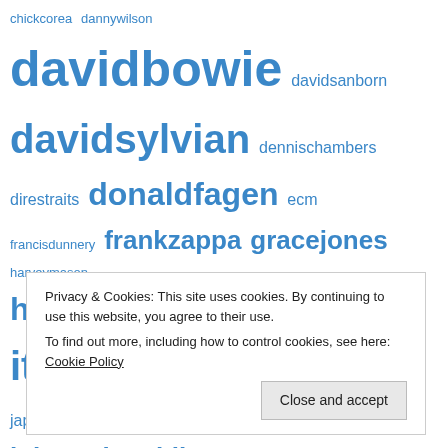[Figure (infographic): Tag cloud of music artists in blue text at various font sizes, including: chickcorea, dannywilson, davidbowie, davidsanborn, davidsylvian, dennischambers, direstraits, donaldfagen, ecm, francisdunnery, frankzappa, gracejones, harveymason, herbiehancock, hirambullock, iggypop, itbites, jacopastorius, japan, jeffbeck, jeffporcaro, johncarpenter, johnmclaughlin, jonimitchell, kingcrimson, level42, loureed, madonna, marcusmiller, markisham, markking, michaelbrecker, michaeljackson, milesdavis, nilerodgers, omarhakim, paddymcaloon, petererskine, petergabriel, philcollins, philgould, talkingheads, thepolice, thomasdolby, tonylovin]
Privacy & Cookies: This site uses cookies. By continuing to use this website, you agree to their use.
To find out more, including how to control cookies, see here: Cookie Policy